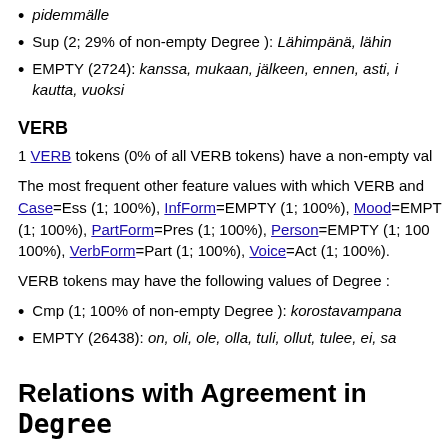pidemmälle
Sup (2; 29% of non-empty Degree ): Lähimpänä, lähin...
EMPTY (2724): kanssa, mukaan, jälkeen, ennen, asti, i... kautta, vuoksi
VERB
1 VERB tokens (0% of all VERB tokens) have a non-empty val...
The most frequent other feature values with which VERB and Case=Ess (1; 100%), InfForm=EMPTY (1; 100%), Mood=EMPTY (1; 100%), PartForm=Pres (1; 100%), Person=EMPTY (1; 100%), VerbForm=Part (1; 100%), Voice=Act (1; 100%).
VERB tokens may have the following values of Degree:
Cmp (1; 100% of non-empty Degree ): korostavampana...
EMPTY (26438): on, oli, ole, olla, tuli, ollut, tulee, ei, sa...
Relations with Agreement in Degree